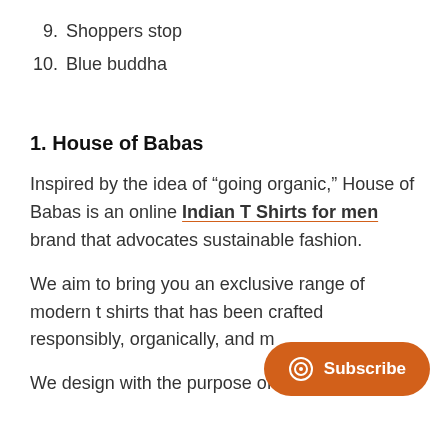9. Shoppers stop
10. Blue buddha
1. House of Babas
Inspired by the idea of “going organic,” House of Babas is an online Indian T Shirts for men brand that advocates sustainable fashion.
We aim to bring you an exclusive range of modern t shirts that has been crafted responsibly, organically, and m
We design with the purpose of combining